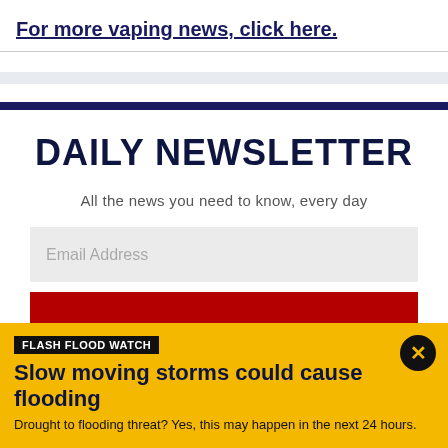For more vaping news, click here.
DAILY NEWSLETTER
All the news you need to know, every day
Email Address
FLASH FLOOD WATCH
Slow moving storms could cause flooding
Drought to flooding threat? Yes, this may happen in the next 24 hours.